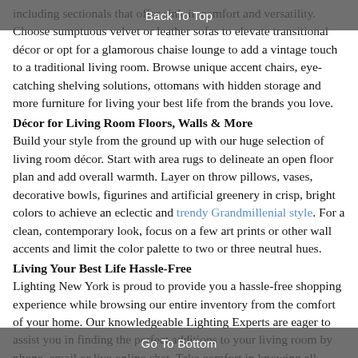Back To Top
including sectionals that offer sink-in comfort and versatility. Choose sumptuous velvet or leather sofas to elevate transitional décor or opt for a glamorous chaise lounge to add a vintage touch to a traditional living room. Browse unique accent chairs, eye-catching shelving solutions, ottomans with hidden storage and more furniture for living your best life from the brands you love.
Décor for Living Room Floors, Walls & More
Build your style from the ground up with our huge selection of living room décor. Start with area rugs to delineate an open floor plan and add overall warmth. Layer on throw pillows, vases, decorative bowls, figurines and artificial greenery in crisp, bright colors to achieve an eclectic and trendy Grandmillenial style. For a clean, contemporary look, focus on a few art prints or other wall accents and limit the color palette to two or three neutral hues.
Living Your Best Life Hassle-Free
Lighting New York is proud to provide you a hassle-free shopping experience while browsing our entire inventory from the comfort of your home. Our knowledgeable Lighting Experts are eager to assist you in finding the perfect additions to your living room by phone, email or live online chat. Take comfort in knowing all qualifying orders ship for free and we have the simplest return policy
Go To Bottom